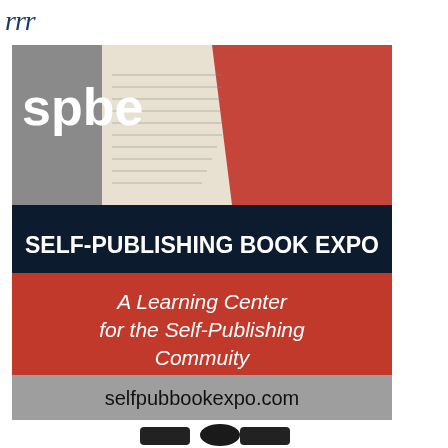[Figure (logo): Partial logo or text graphic visible at top left, appears to be stylized italic text or brand mark in dark ink]
[Figure (illustration): Self-Publishing Book Expo advertisement banner. Dark navy top section with 'spbe' logo text in white and photo of open book pages. Below: dark navy band with bold white text 'SELF-PUBLISHING BOOK EXPO'. Red section with white italic text 'A Learning Center for the Self-Publishing Commuity'. Gray bottom band with black text 'selfpubbookexpo.com']
[Figure (photo): Partial photo at bottom showing what appears to be black mechanical or audio equipment clips/clamps on white background]